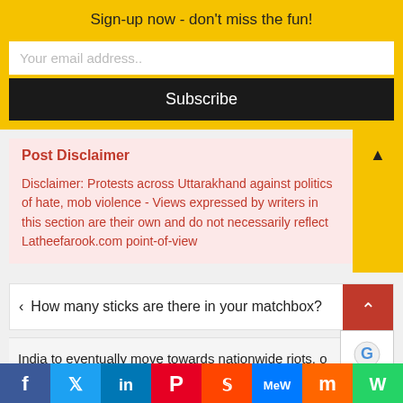Sign-up now - don't miss the fun!
Your email address..
Subscribe
Post Disclaimer
Disclaimer: Protests across Uttarakhand against politics of hate, mob violence - Views expressed by writers in this section are their own and do not necessarily reflect Latheefarook.com point-of-view
< How many sticks are there in your matchbox?
India to eventually move towards nationwide riots, o
f in in P S MW m W +